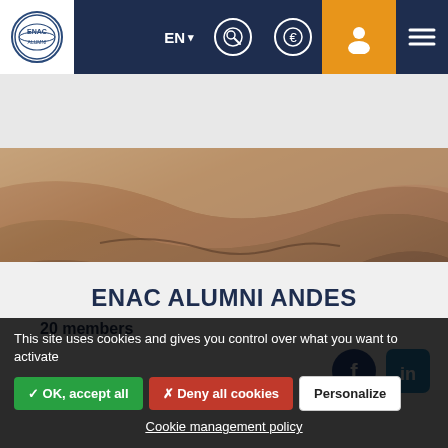EN | search | euro | user | menu
[Figure (photo): Desert landscape with layered eroded rock formations in brown and tan tones]
ENAC ALUMNI ANDES
20 members
[Figure (illustration): Blue sky landscape photo (second group card hero image)]
This site uses cookies and gives you control over what you want to activate
✓ OK, accept all    ✗ Deny all cookies    Personalize
Cookie management policy